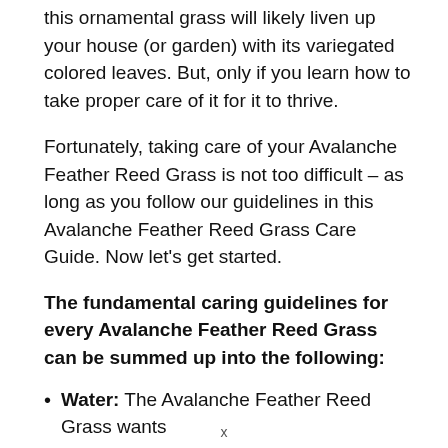this ornamental grass will likely liven up your house (or garden) with its variegated colored leaves. But, only if you learn how to take proper care of it for it to thrive.
Fortunately, taking care of your Avalanche Feather Reed Grass is not too difficult – as long as you follow our guidelines in this Avalanche Feather Reed Grass Care Guide. Now let's get started.
The fundamental caring guidelines for every Avalanche Feather Reed Grass can be summed up into the following:
Water: The Avalanche Feather Reed Grass wants
x